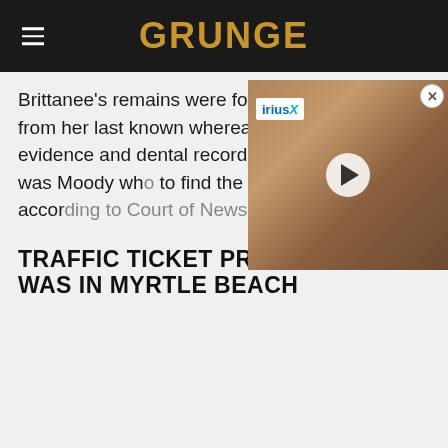GRUNGE
Brittanee's remains were found about 35 miles from her last known whereabouts. Police evidence and dental records to the remains. It was Moody who to find the missing teen, according to Court of News.
[Figure (screenshot): Video overlay thumbnail showing a man with long curly hair, with a SiriusXM logo visible and a play button in the center.]
TRAFFIC TICKET PROVES MOODY WAS IN MYRTLE BEACH